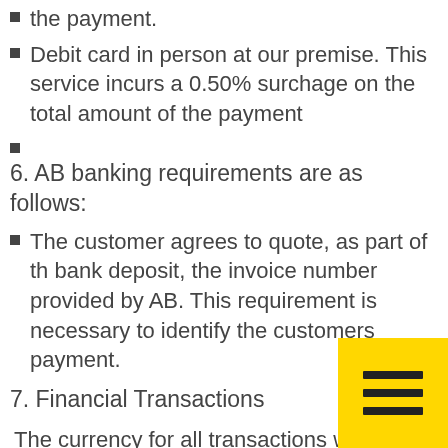the payment.
Debit card in person at our premise.  This service incurs a 0.50% surchage on the total amount of the payment
6. AB banking requirements are as follows:
The customer agrees to quote, as part of the bank deposit, the invoice number provided by AB. This requirement is necessary to identify the customers payment.
7. Financial Transactions
The currency for all transactions w
Australian Dollars (AUD). AB reserve the ri